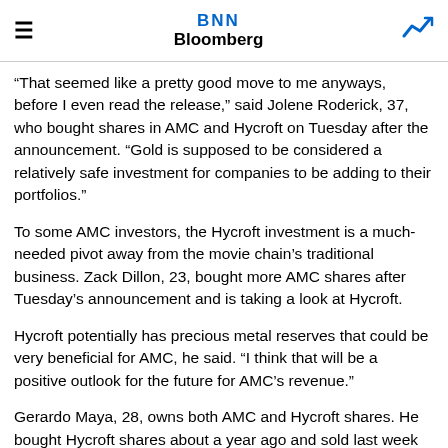BNN Bloomberg
“That seemed like a pretty good move to me anyways, before I even read the release,” said Jolene Roderick, 37, who bought shares in AMC and Hycroft on Tuesday after the announcement. “Gold is supposed to be considered a relatively safe investment for companies to be adding to their portfolios.”
To some AMC investors, the Hycroft investment is a much-needed pivot away from the movie chain’s traditional business. Zack Dillon, 23, bought more AMC shares after Tuesday’s announcement and is taking a look at Hycroft.
Hycroft potentially has precious metal reserves that could be very beneficial for AMC, he said. “I think that will be a positive outlook for the future for AMC’s revenue.”
Gerardo Maya, 28, owns both AMC and Hycroft shares. He bought Hycroft shares about a year ago and sold last week at a profit amid a Reddit-spurred rally, before quickly buying back in. Hycroft could benefit from a strong retail investor community like AMC’s, he said in an interview, and he plans